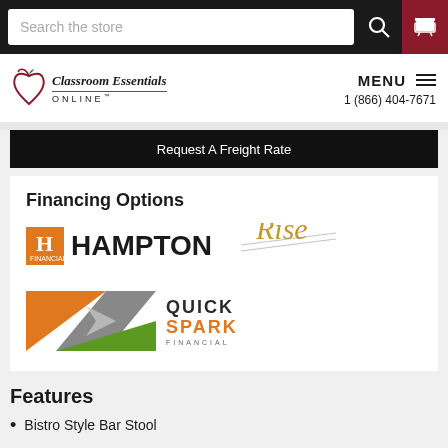Search the store
[Figure (logo): Classroom Essentials Online logo with apple graphic]
MENU  1 (866) 404-7671
Request A Freight Rate
Financing Options
[Figure (logo): Hampton Financial logo]
[Figure (logo): QuickSpark Financial logo]
Features
Bistro Style Bar Stool